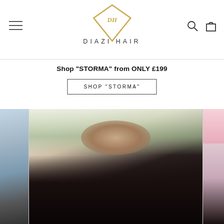[Figure (logo): Diazi Hair logo — gold diamond shape with DH monogram, text DIAZI HAIR below]
Shop "STORMA" from ONLY £199
SHOP "STORMA"
[Figure (photo): Carousel of product photos showing a mannequin head wearing a long dark wavy wig, with plants in background. Partial photos visible on left and right sides.]